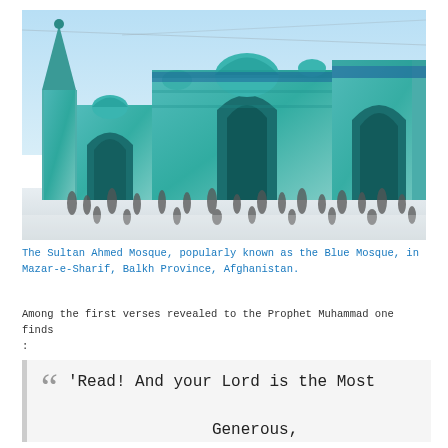[Figure (photo): The Sultan Ahmed Mosque (Blue Mosque) in Mazar-e-Sharif, Balkh Province, Afghanistan. A large turquoise and blue tiled mosque with multiple domes and arched entrances. People walk on a white plaza in front of the mosque under a clear blue sky.]
The Sultan Ahmed Mosque, popularly known as the Blue Mosque, in Mazar-e-Sharif, Balkh Province, Afghanistan.
Among the first verses revealed to the Prophet Muhammad one finds :
“Read! And your Lord is the Most Generous,